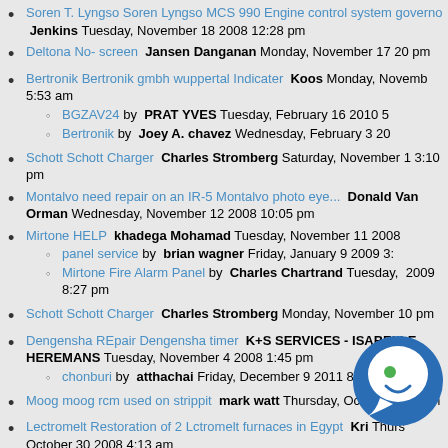Soren T. Lyngso Soren Lyngso MCS 990 Engine control system governo Jenkins Tuesday, November 18 2008 12:28 pm
Deltona No- screen Jansen Danganan Monday, November 17 20... pm
Bertronik Bertronik gmbh wuppertal Indicater Koos Monday, Novemb... 5:53 am
BGZAV24 by PRAT YVES Tuesday, February 16 2010 5...
Bertronik by Joey A. chavez Wednesday, February 3 20...
Schott Schott Charger Charles Stromberg Saturday, November 1... 3:10 pm
Montalvo need repair on an IR-5 Montalvo photo eye... Donald Van Orman Wednesday, November 12 2008 10:05 pm
Mirtone HELP khadega Mohamad Tuesday, November 11 2008...
panel service by brian wagner Friday, January 9 2009 3:...
Mirtone Fire Alarm Panel by Charles Chartrand Tuesday, ... 2009 8:27 pm
Schott Schott Charger Charles Stromberg Monday, November 10... pm
Dengensha REpair Dengensha timer K+S SERVICES - ISABELLE... HEREMANS Tuesday, November 4 2008 1:45 pm
chonburi by atthachai Friday, December 9 2011 8:01 am
Moog moog rcm used on strippit mark watt Thursday, October 30 2... pm
Lectromelt Restoration of 2 Lctromelt furnaces in Egypt Kri... Thurs... October 30 2008 4:13 am
Westfalia Separator westaflia seperator model: ON 616 D...utie... October 28 2008 3:02 pm
Schott Schott Charger Repair Charles Stromberg Monday, Octobe...